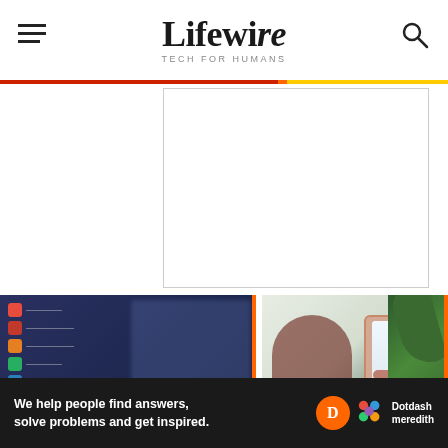Lifewire — TECH FOR HUMANS
[Figure (screenshot): Blank advertisement placeholder box with border]
[Figure (screenshot): iPad screen showing app list with blurred icons and keyboard at bottom]
[Figure (photo): Woman holding iPhone showing Control Center, with plant in background]
We help people find answers, solve problems and get inspired. Dotdash meredith